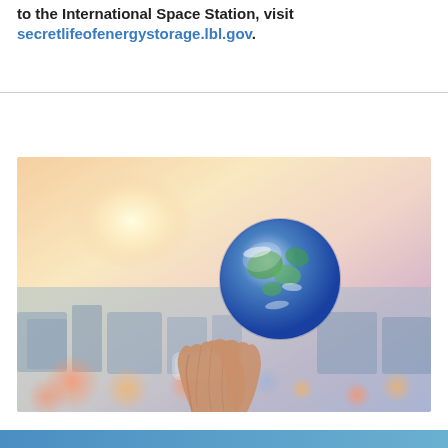to the International Space Station, visit secretlifeofenergystorage.lbl.gov.
[Figure (photo): Hands holding a small globe (Earth) up against a colorful sunset sky with a blurred city skyline in the background. Warm pink, purple, and yellow tones in the sky.]